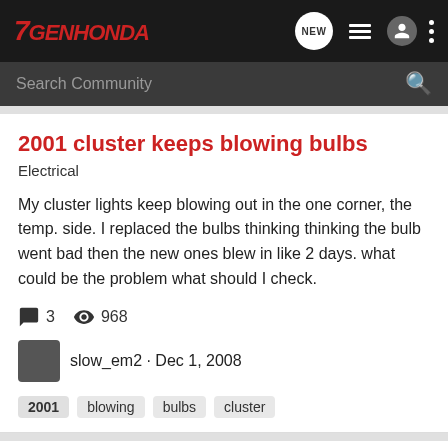7GENHONDA
Search Community
2001 cluster keeps blowing bulbs
Electrical
My cluster lights keep blowing out in the one corner, the temp. side. I replaced the bulbs thinking thinking the bulb went bad then the new ones blew in like 2 days. what could be the problem what should I check.
3   968
slow_em2 · Dec 1, 2008
2001
blowing
bulbs
cluster
White Turbo Civic 2001 - Updated